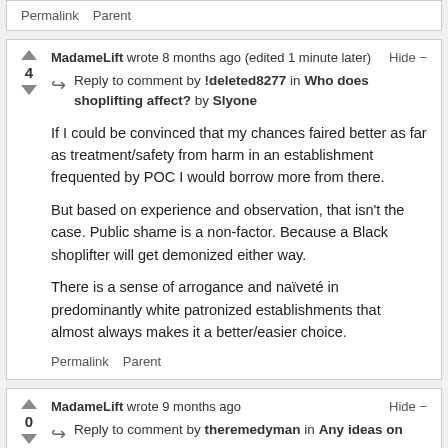Permalink   Parent
MadameLift wrote 8 months ago (edited 1 minute later)   Hide −
Reply to comment by !deleted8277 in Who does shoplifting affect? by Slyone
If I could be convinced that my chances faired better as far as treatment/safety from harm in an establishment frequented by POC I would borrow more from there.
But based on experience and observation, that isn't the case. Public shame is a non-factor. Because a Black shoplifter will get demonized either way.
There is a sense of arrogance and naïveté in predominantly white patronized establishments that almost always makes it a better/easier choice.
Permalink   Parent
MadameLift wrote 9 months ago   Hide −
Reply to comment by theremedyman in Any ideas on